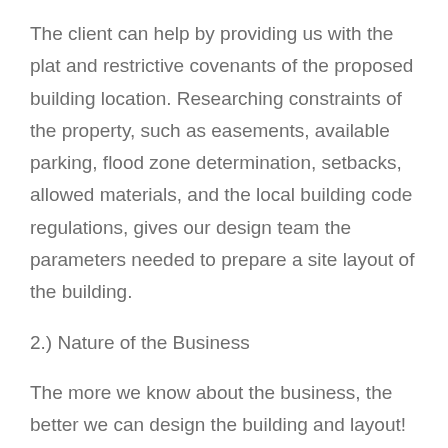The client can help by providing us with the plat and restrictive covenants of the proposed building location. Researching constraints of the property, such as easements, available parking, flood zone determination, setbacks, allowed materials, and the local building code regulations, gives our design team the parameters needed to prepare a site layout of the building.
2.) Nature of the Business
The more we know about the business, the better we can design the building and layout! We need to know the objective of the building and the intended use. We are then able to determine the occupancy type, such as assembly, business, educational, industrial, mercantile,